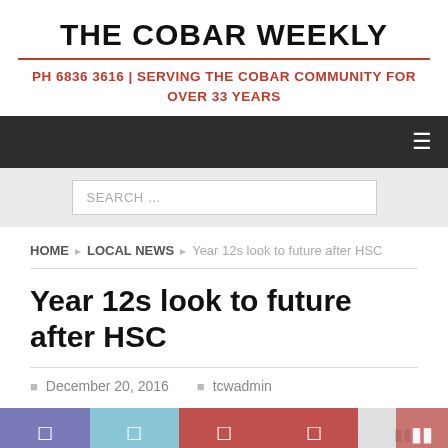THE COBAR WEEKLY
PH 6836 3616 | SERVING THE COBAR COMMUNITY FOR OVER 33 YEARS
[Figure (screenshot): Dark navigation bar with hamburger menu icon on the right]
[Figure (screenshot): Light grey search bar with placeholder text SEARCH ...]
HOME » LOCAL NEWS » Year 12s look to future after HSC
Year 12s look to future after HSC
December 20, 2016   tcwadmin
[Figure (screenshot): Social media sharing buttons: Facebook, Twitter, Google+, Pinterest, LinkedIn]